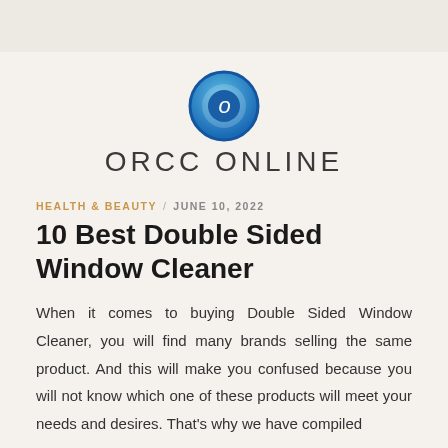[Figure (logo): ORCC Online circular logo — blue gradient circle with white letter O in center]
ORCC ONLINE
HEALTH & BEAUTY / JUNE 10, 2022
10 Best Double Sided Window Cleaner
When it comes to buying Double Sided Window Cleaner, you will find many brands selling the same product. And this will make you confused because you will not know which one of these products will meet your needs and desires. That's why we have compiled